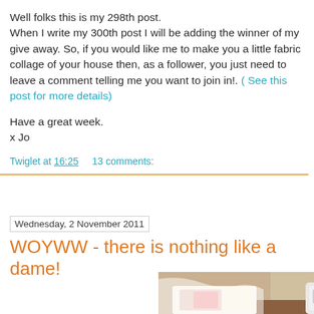Well folks this is my 298th post. When I write my 300th post I will be adding the winner of my give away. So, if you would like me to make you a little fabric collage of your house then, as a follower, you just need to leave a comment telling me you want to join in!. ( See this post for more details)
Have a great week.
x Jo
Twiglet at 16:25    13 comments:
Wednesday, 2 November 2011
WOYWW - there is nothing like a dame!
[Figure (photo): Photo of a sewing machine and fabric/craft materials on a table]